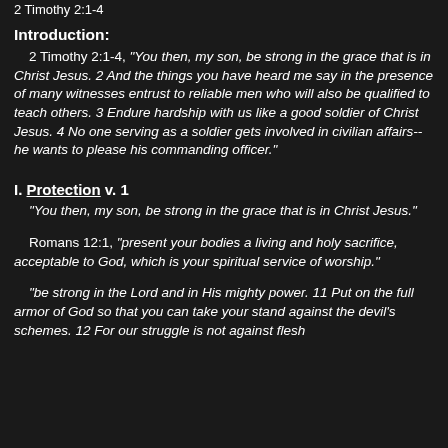2 Timothy 2:1-4
Introduction:
2 Timothy 2:1-4, “You then, my son, be strong in the grace that is in Christ Jesus. 2 And the things you have heard me say in the presence of many witnesses entrust to reliable men who will also be qualified to teach others. 3 Endure hardship with us like a good soldier of Christ Jesus. 4 No one serving as a soldier gets involved in civilian affairs-- he wants to please his commanding officer.”
I. Protection v. 1
“You then, my son, be strong in the grace that is in Christ Jesus.”
Romans 12:1, “present your bodies a living and holy sacrifice, acceptable to God, which is your spiritual service of worship.”
“be strong in the Lord and in His mighty power. 11 Put on the full armor of God so that you can take your stand against the devil’s schemes. 12 For our struggle is not against flesh